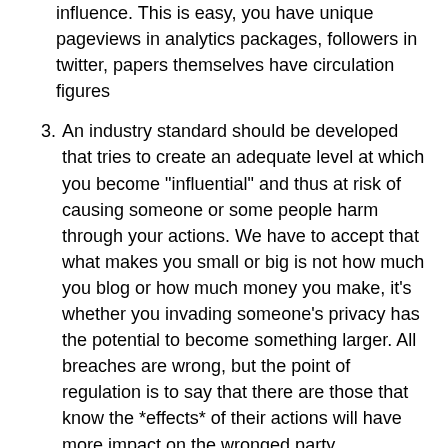influence. This is easy, you have unique pageviews in analytics packages, followers in twitter, papers themselves have circulation figures
3. An industry standard should be developed that tries to create an adequate level at which you become "influential" and thus at risk of causing someone or some people harm through your actions. We have to accept that what makes you small or big is not how much you blog or how much money you make, it's whether you invading someone's privacy has the potential to become something larger. All breaches are wrong, but the point of regulation is to say that there are those that know the *effects* of their actions will have more impact on the wronged party.
4. Anyone should be able to submit through an easy and instantaneous system some stats about their